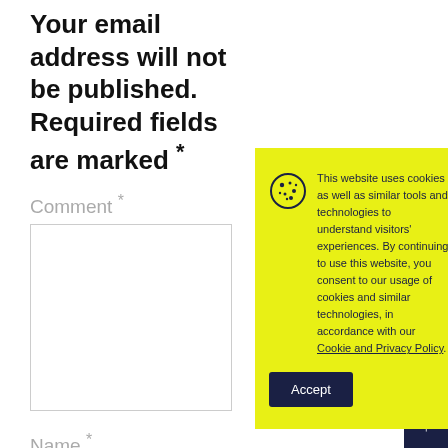Your email address will not be published. Required fields are marked *
Comment *
Name *
Email *
[Figure (screenshot): Cookie consent banner with yellow background, cookie icon, text about cookie usage policy, an Accept button, and a close (x) button in the top-right corner. Text reads: 'This website uses cookies as well as similar tools and technologies to understand visitors' experiences. By continuing to use this website, you consent to our usage of cookies and similar technologies, in accordance with our Cookie and Privacy Policy.' with an Accept button below.]